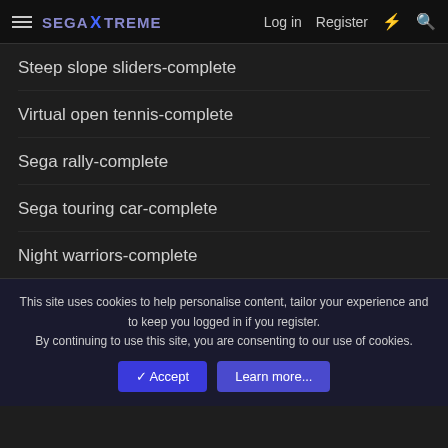SegaXtreme — Log in | Register
Steep slope sliders-complete
Virtual open tennis-complete
Sega rally-complete
Sega touring car-complete
Night warriors-complete
Fighters megamix-complete
Mortal kombat 2-complete
This site uses cookies to help personalise content, tailor your experience and to keep you logged in if you register.
By continuing to use this site, you are consenting to our use of cookies.